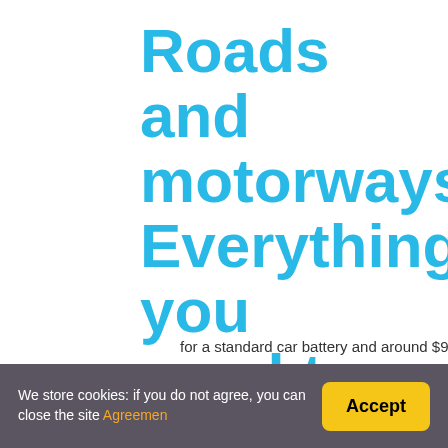Roads and motorways | Everything you need to know
for a standard car battery and around $90 to $200 for a
You might be interested: What Is The Load
How much does it cost to replace a car b
We store cookies: if you do not agree, you can close the site Agreemen